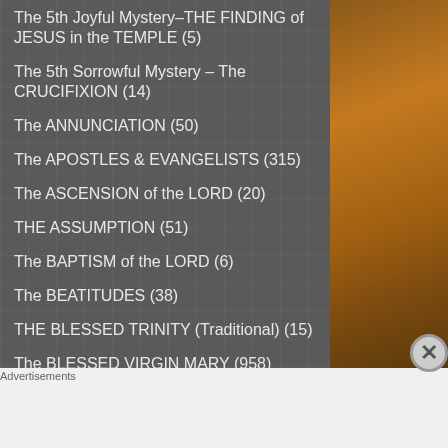The 5th Joyful Mystery–THE FINDING of JESUS in the TEMPLE (5)
The 5th Sorrowful Mystery – The CRUCIFIXION (14)
The ANNUNCIATION (50)
The APOSTLES & EVANGELISTS (315)
The ASCENSION of the LORD (20)
THE ASSUMPTION (51)
The BAPTISM of the LORD (6)
The BEATITUDES (38)
THE BLESSED TRINITY (Traditional) (15)
The BLESSED VIRGIN MARY (958)
Advertisements
[Figure (photo): Advertisement banner for Macys lipstick product reading KISS BORING LIPS GOODBYE with SHOP NOW button and Macys star logo]